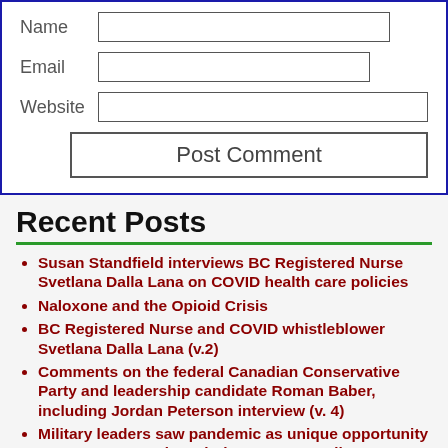[Figure (screenshot): Web form section with fields for Name, Email, Website, and a Post Comment button, inside a blue border box.]
Recent Posts
Susan Standfield interviews BC Registered Nurse Svetlana Dalla Lana on COVID health care policies
Naloxone and the Opioid Crisis
BC Registered Nurse and COVID whistleblower Svetlana Dalla Lana (v.2)
Comments on the federal Canadian Conservative Party and leadership candidate Roman Baber, including Jordan Peterson interview (v. 4)
Military leaders saw pandemic as unique opportunity to test propaganda techniques on Canadians, Forces report says
Canadian COVID Care Alliance videos you can share